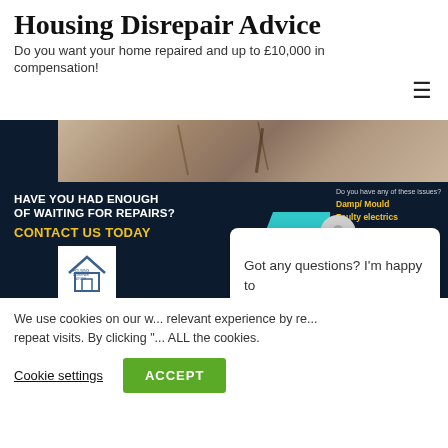Housing Disrepair Advice
Do you want your home repaired and up to £10,000 in compensation!
[Figure (screenshot): Website screenshot showing a banner with 'HAVE YOU HAD ENOUGH OF WAITING FOR REPAIRS? CONTACT US TODAY' in yellow text on dark navy background, with issues list (Damp/Mould, Faulty electrics, Leaks, Roofing issues) on the right, a building crack photo at top, and a small house logo bottom left.]
Got any questions? I'm happy to help.
We use cookies on our w... relevant experience by re... repeat visits. By clicking "... ALL the cookies.
Cookie settings
ACCEPT